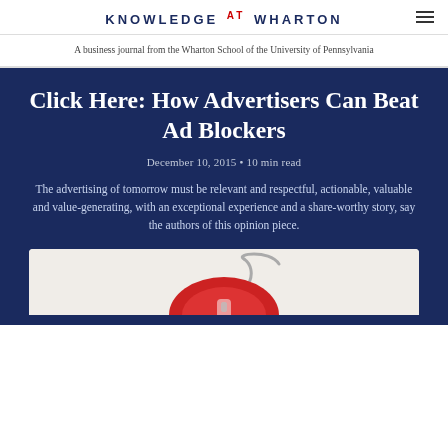KNOWLEDGE AT WHARTON
A business journal from the Wharton School of the University of Pennsylvania
Click Here: How Advertisers Can Beat Ad Blockers
December 10, 2015 • 10 min read
The advertising of tomorrow must be relevant and respectful, actionable, valuable and value-generating, with an exceptional experience and a share-worthy story, say the authors of this opinion piece.
[Figure (photo): Partial image of a computer mouse with a red cord visible at the bottom of the page]